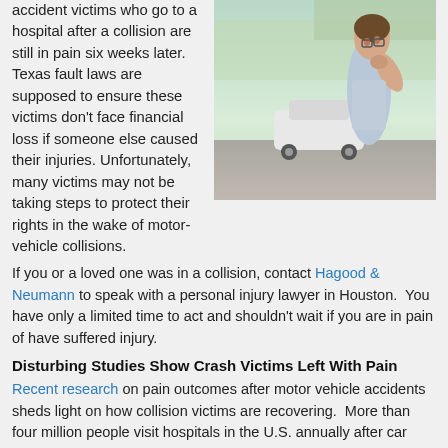accident victims who go to a hospital after a collision are still in pain six weeks later. Texas fault laws are supposed to ensure these victims don't face financial loss if someone else caused their injuries. Unfortunately, many victims may not be taking steps to protect their rights in the wake of motor-vehicle collisions.
[Figure (photo): Man holding his neck in pain standing next to a white car after a collision, outdoors with a road and greenery in background.]
If you or a loved one was in a collision, contact Hagood & Neumann to speak with a personal injury lawyer in Houston.  You have only a limited time to act and shouldn't wait if you are in pain of have suffered injury.
Disturbing Studies Show Crash Victims Left With Pain
Recent research on pain outcomes after motor vehicle accidents sheds light on how collision victims are recovering.  More than four million people visit hospitals in the U.S. annually after car accidents, with injuries ranging from mild to severe. Unfortunately, among patients who are discharged from the hospital, the effects of the crash can linger for weeks or longer.
A result of 243 injury victims who ended up...